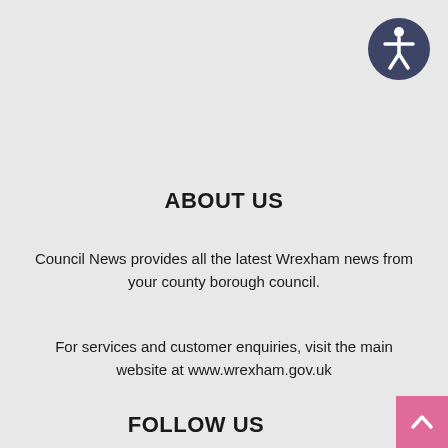[Figure (logo): Dark navy circle with white accessibility person icon (universal accessibility symbol)]
ABOUT US
Council News provides all the latest Wrexham news from your county borough council.
For services and customer enquiries, visit the main website at www.wrexham.gov.uk
FOLLOW US
[Figure (other): Pink/rose square button with white upward chevron arrow, scroll-to-top button]